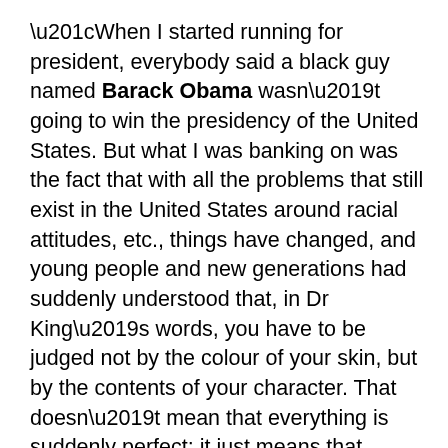“When I started running for president, everybody said a black guy named Barack Obama wasn’t going to win the presidency of the United States. But what I was banking on was the fact that with all the problems that still exist in the United States around racial attitudes, etc., things have changed, and young people and new generations had suddenly understood that, in Dr King’s words, you have to be judged not by the colour of your skin, but by the contents of your character. That doesn’t mean that everything is suddenly perfect; it just means that young people can lead the way and set a good example. But it requires some courage. Because of the old thinking, people will push back at you, and if you don’t have the convictions and the courage to be able to stand up for what you think is right, then cruelty will perpetuate itself. So you guys are on the spot!” – Barack Obama speaking at the